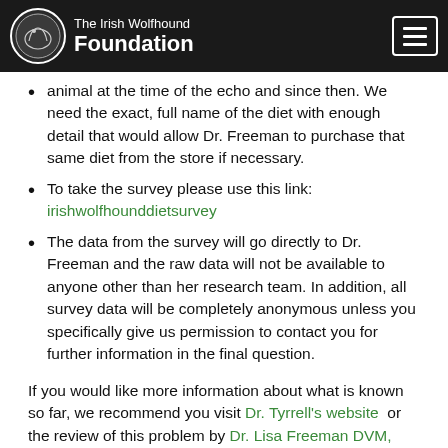The Irish Wolfhound Foundation
animal at the time of the echo and since then. We need the exact, full name of the diet with enough detail that would allow Dr. Freeman to purchase that same diet from the store if necessary.
To take the survey please use this link: irishwolfhounddietsurvey
The data from the survey will go directly to Dr. Freeman and the raw data will not be available to anyone other than her research team. In addition, all survey data will be completely anonymous unless you specifically give us permission to contact you for further information in the final question.
If you would like more information about what is known so far, we recommend you visit Dr. Tyrrell's website or the review of this problem by Dr. Lisa Freeman DVM, PhD, DACVN